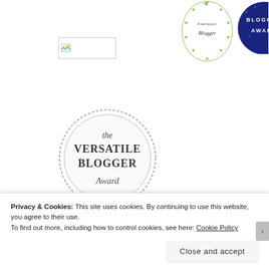[Figure (illustration): Broken image placeholder (small rectangle with image icon)]
[Figure (illustration): Entertainer Blogger badge - circular green leaf border with text 'Entertainer Blogger']
[Figure (illustration): Blogger Award badge - dark blue circle with text 'BLOGGER AWARD']
[Figure (illustration): The Versatile Blogger Award - circular badge with dotted border, script and serif text]
[Figure (illustration): Partial floral decoration badge at bottom left]
[Figure (illustration): Partial yellow sunflower badge at bottom center]
Privacy & Cookies: This site uses cookies. By continuing to use this website, you agree to their use. To find out more, including how to control cookies, see here: Cookie Policy
Close and accept